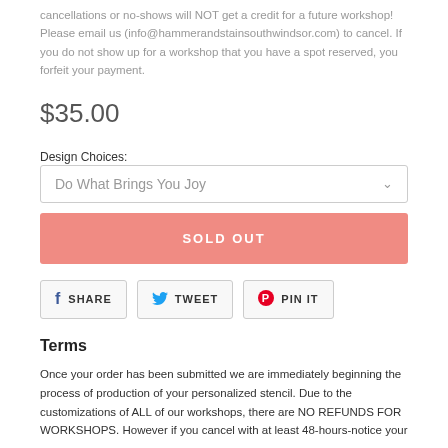cancellations or no-shows will NOT get a credit for a future workshop! Please email us (info@hammerandstainsouthwindsor.com) to cancel. If you do not show up for a workshop that you have a spot reserved, you forfeit your payment.
$35.00
Design Choices:
Do What Brings You Joy
SOLD OUT
SHARE
TWEET
PIN IT
Terms
Once your order has been submitted we are immediately beginning the process of production of your personalized stencil. Due to the customizations of ALL of our workshops, there are NO REFUNDS FOR WORKSHOPS. However if you cancel with at least 48-hours-notice your